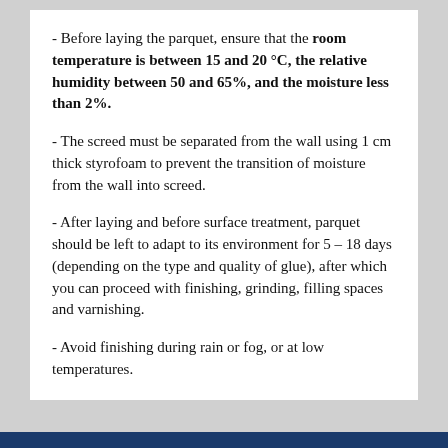- Before laying the parquet, ensure that the room temperature is between 15 and 20 °C, the relative humidity between 50 and 65%, and the moisture less than 2%.
- The screed must be separated from the wall using 1 cm thick styrofoam to prevent the transition of moisture from the wall into screed.
- After laying and before surface treatment, parquet should be left to adapt to its environment for 5 – 18 days (depending on the type and quality of glue), after which you can proceed with finishing, grinding, filling spaces and varnishing.
- Avoid finishing during rain or fog, or at low temperatures.